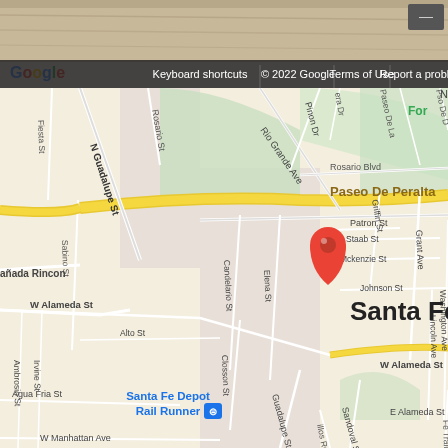[Figure (map): Google Maps view of Santa Fe, New Mexico showing streets including Paseo De Peralta, N Guadalupe St, W Alameda St, Rio Grande Ave, Rosario Blvd, Grant Ave, Washington Ave, Lincoln Ave, Sandoval St, and others. A red location pin marker is placed near Patron St. Santa Fe Depot Rail Runner is visible in lower left. The label 'Santa Fe' appears in the lower right area.]
Google | Keyboard shortcuts | © 2022 Google | Terms of Use | Report a problem